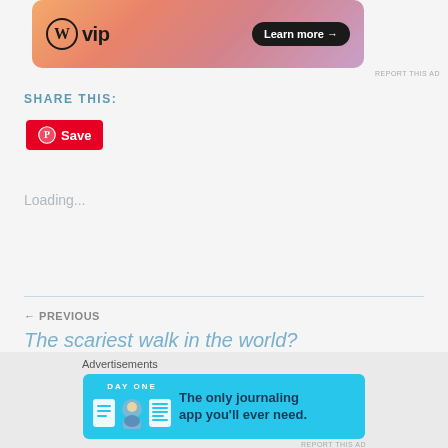[Figure (screenshot): WordPress VIP advertisement banner with gradient orange-pink-purple background, WP logo on left and 'Learn more →' black button on right]
REPORT THIS AD
SHARE THIS:
[Figure (screenshot): Pinterest Save button — red rounded button with Pinterest circle icon and 'Save' text]
Loading...
← PREVIOUS
The scariest walk in the world?
Advertisements
[Figure (screenshot): Day One journaling app advertisement banner with cyan/blue background, app icons and text 'The only journaling app you'll ever need.']
REPORT THIS AD